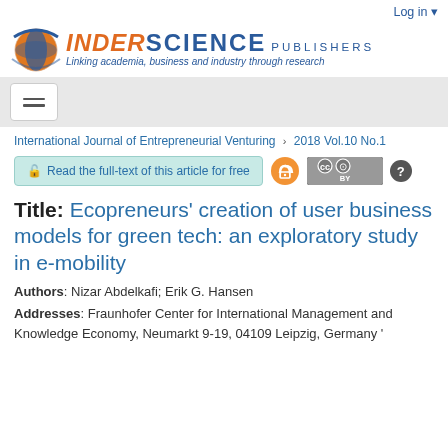Log in
[Figure (logo): Inderscience Publishers logo with globe icon and tagline: Linking academia, business and industry through research]
[Figure (other): Navigation hamburger menu button]
International Journal of Entrepreneurial Venturing > 2018 Vol.10 No.1
Read the full-text of this article for free
Title: Ecopreneurs' creation of user business models for green tech: an exploratory study in e-mobility
Authors: Nizar Abdelkafi; Erik G. Hansen
Addresses: Fraunhofer Center for International Management and Knowledge Economy, Neumarkt 9-19, 04109 Leipzig, Germany '